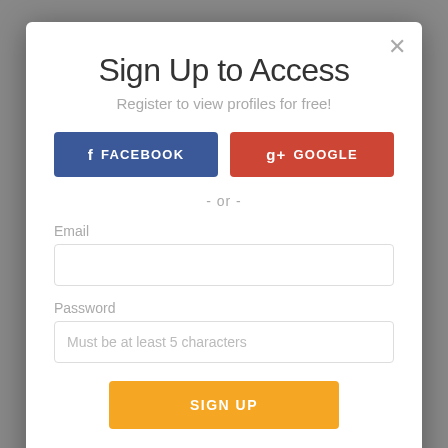Sign Up to Access
Register to view profiles for free!
FACEBOOK
GOOGLE
- or -
Email
Password
Must be at least 5 characters
SIGN UP
Already have an account? Log In here.